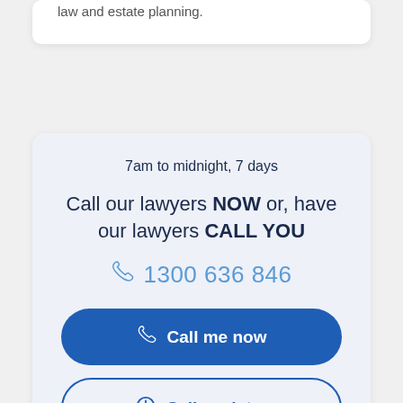law and estate planning.
7am to midnight, 7 days
Call our lawyers NOW or, have our lawyers CALL YOU
1300 636 846
Call me now
Call me later